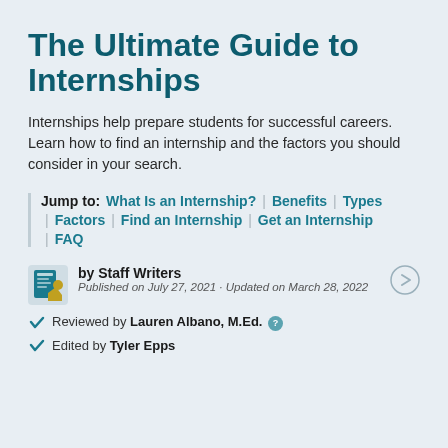The Ultimate Guide to Internships
Internships help prepare students for successful careers. Learn how to find an internship and the factors you should consider in your search.
Jump to: What Is an Internship? | Benefits | Types | Factors | Find an Internship | Get an Internship | FAQ
by Staff Writers
Published on July 27, 2021 · Updated on March 28, 2022
Reviewed by Lauren Albano, M.Ed.
Edited by Tyler Epps